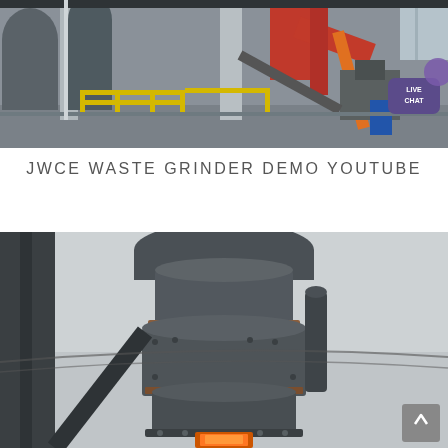[Figure (photo): Industrial facility interior showing large grinding/milling machinery with red overhead crane, yellow safety railings, gray ductwork and pipes, concrete pillars, and factory floor equipment.]
JWCE WASTE GRINDER DEMO YOUTUBE
[Figure (photo): Close-up exterior view of a large vertical industrial grinding mill tower, dark gray metal construction with flanged cylindrical sections, rust-stained seams, bolted base plate, and an orange-lit opening at the bottom. Overcast sky background.]